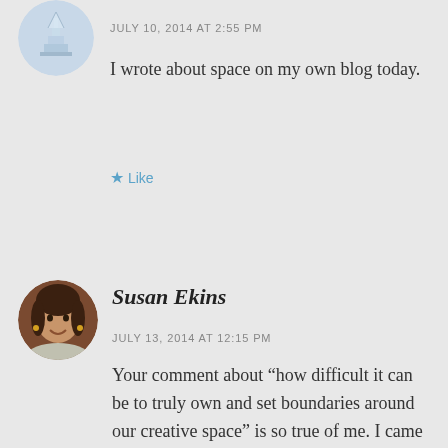[Figure (illustration): Circular avatar icon showing a staircase/steps illustration with blue tones at top of page]
JULY 10, 2014 AT 2:55 PM
I wrote about space on my own blog today.
★ Like
[Figure (photo): Circular avatar photo of Susan Ekins, a woman with dark hair and gold earrings, smiling]
Susan Ekins
JULY 13, 2014 AT 12:15 PM
Your comment about “how difficult it can be to truly own and set boundaries around our creative space” is so true of me. I came back from a conference for artists last night and